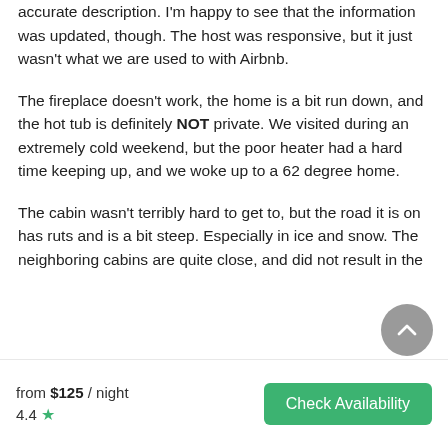accurate description. I'm happy to see that the information was updated, though. The host was responsive, but it just wasn't what we are used to with Airbnb.
The fireplace doesn't work, the home is a bit run down, and the hot tub is definitely NOT private. We visited during an extremely cold weekend, but the poor heater had a hard time keeping up, and we woke up to a 62 degree home.
The cabin wasn't terribly hard to get to, but the road it is on has ruts and is a bit steep. Especially in ice and snow. The neighboring cabins are quite close, and did not result in the
from $125 / night
4.4 ★